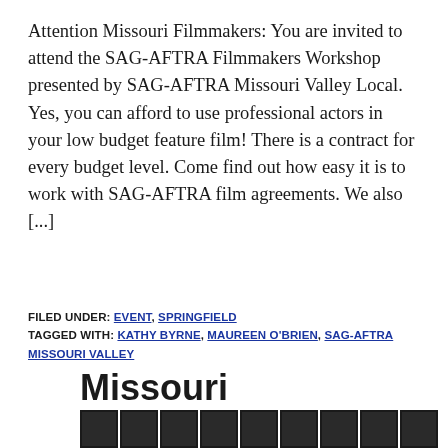Attention Missouri Filmmakers: You are invited to attend the SAG-AFTRA Filmmakers Workshop presented by SAG-AFTRA Missouri Valley Local. Yes, you can afford to use professional actors in your low budget feature film! There is a contract for every budget level. Come find out how easy it is to work with SAG-AFTRA film agreements. We also [...]
FILED UNDER: EVENT, SPRINGFIELD
TAGGED WITH: KATHY BYRNE, MAUREEN O'BRIEN, SAG-AFTRA MISSOURI VALLEY
[Figure (logo): Missouri logo with bold text and a row of dark icon boxes below]